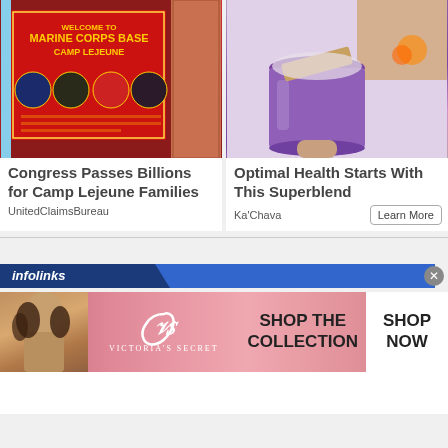[Figure (photo): Welcome to Marine Corps Base Camp Lejeune sign]
[Figure (photo): Purple smoothie superblend drink in a glass jar]
Congress Passes Billions for Camp Lejeune Families
Optimal Health Starts With This Superblend
UnitedClaimsBureau
Ka'Chava
Learn More
[Figure (infographic): infolinks labeled advertisement bar with Victoria's Secret banner ad showing 'SHOP THE COLLECTION' and 'SHOP NOW' button]